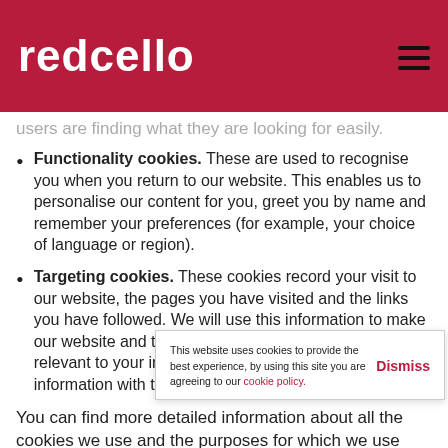redcello
users are finding what they are looking for easily.
Functionality cookies. These are used to recognise you when you return to our website. This enables us to personalise our content for you, greet you by name and remember your preferences (for example, your choice of language or region).
Targeting cookies. These cookies record your visit to our website, the pages you have visited and the links you have followed. We will use this information to make our website and the advertising displayed on it more relevant to your interests. We may also share this information with third parties for this purpose.
You can find more detailed information about all the cookies we use and the purposes for which we use them in the table below:
This website uses cookies to provide the best experience, by using this site you are agreeing to our cookie policy. Dismiss